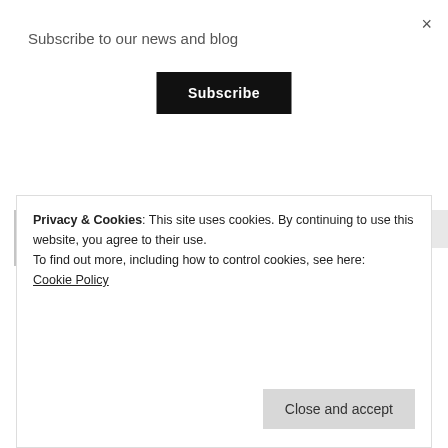Subscribe to our news and blog
×
Subscribe
Greg Nelson
July 27, 2015 at 6:10 pm
This is a comment I pulled from facebook over this post and I
Privacy & Cookies: This site uses cookies. By continuing to use this website, you agree to their use.
To find out more, including how to control cookies, see here:
Cookie Policy
Close and accept
money from Fraudenm...